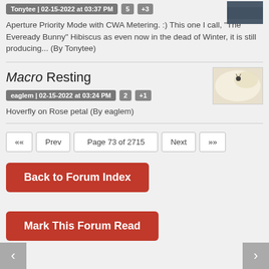Tonytee | 02-15-2022 at 03:37 PM  5  +3
Aperture Priority Mode with CWA Metering. :) This one I call, "The Eveready Bunny" Hibiscus as even now in the dead of Winter, it is still producing... (By Tonytee)
Macro Resting
eaglem | 02-15-2022 at 03:24 PM  2  +1
Hoverfly on Rose petal (By eaglem)
«« Prev Page 73 of 2715 Next »»
Back to Forum Index
Mark This Forum Read